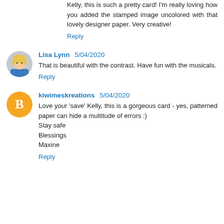Kelly, this is such a pretty card! I'm really loving how you added the stamped image uncolored with that lovely designer paper. Very creative!
Reply
Lisa Lynn 5/04/2020
That is beautiful with the contrast. Have fun with the musicals.
Reply
kiwimeskreations 5/04/2020
Love your 'save' Kelly, this is a gorgeous card - yes, patterned paper can hide a multitude of errors :)
Stay safe
Blessings
Maxine
Reply